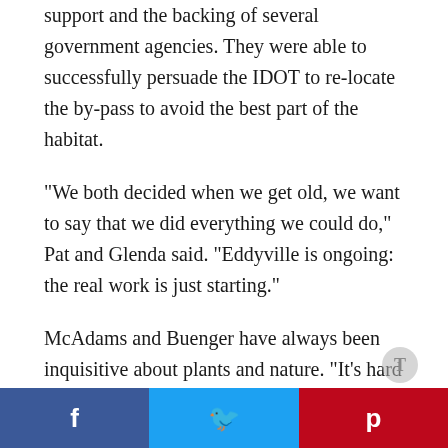support and the backing of several government agencies. They were able to successfully persuade the IDOT to re-locate the by-pass to avoid the best part of the habitat.
"We both decided when we get old, we want to say that we did everything we could do," Pat and Glenda said. "Eddyville is ongoing: the real work is just starting."
McAdams and Buenger have always been inquisitive about plants and nature. "It's hard to tell where academia stops and conservation begins," said McAdams, an assistant professor of Earth science at William Penn University in Oskaloosa where they both
Facebook Twitter Pinterest